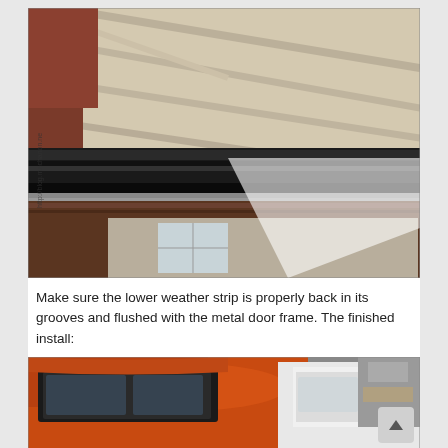[Figure (photo): Close-up photograph of a black rubber weather strip/seal seated in a dark wood-colored door frame channel, viewed from below, with a building and white roof structure visible in the background. Watermark text 'http://blog.machanon.ne' visible on left side.]
Make sure the lower weather strip is properly back in its grooves and flushed with the metal door frame. The finished install:
[Figure (photo): Photograph of the finished installation showing an orange/copper colored vehicle (truck or SUV) with black window trim and a white vehicle visible in the background inside a garage.]